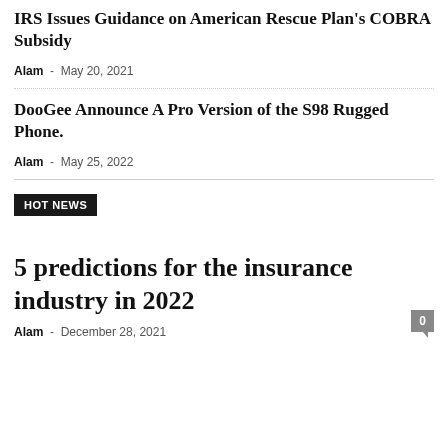IRS Issues Guidance on American Rescue Plan's COBRA Subsidy
Alam - May 20, 2021
DooGee Announce A Pro Version of the S98 Rugged Phone.
Alam - May 25, 2022
HOT NEWS
5 predictions for the insurance industry in 2022
Alam - December 28, 2021